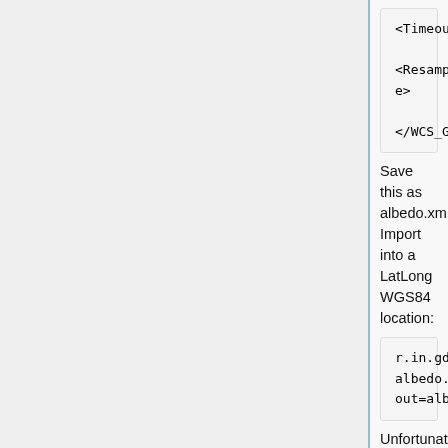<Timeout>90</Timeout>

<Resample>nearest</Resample>
    </WCS_GDAL>
Save this as albedo.xml. Import into a LatLong WGS84 location:
r.in.gdal albedo.xml out=albedo
Unfortunately this server sends out the map shifted by 0.5 pixel. This requires a fix to the map boundary coordinates:
r.region albedo n=90 s=-90 w=-180 e=180
Now apply color table and look at the